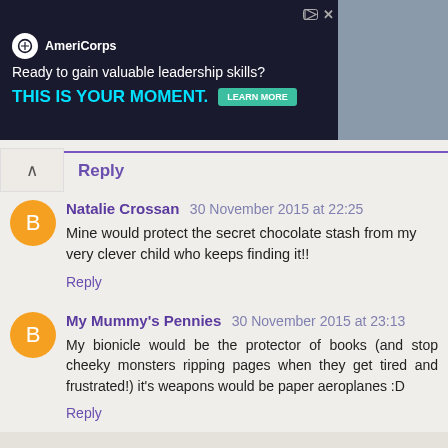[Figure (screenshot): AmeriCorps advertisement banner: 'Ready to gain valuable leadership skills? THIS IS YOUR MOMENT.' with LEARN MORE button and photo of people]
Reply
Natalie Crossan 30 November 2015 at 22:25
Mine would protect the secret chocolate stash from my very clever child who keeps finding it!!
Reply
My Mummy's Pennies 30 November 2015 at 23:13
My bionicle would be the protector of books (and stop cheeky monsters ripping pages when they get tired and frustrated!) it's weapons would be paper aeroplanes :D
Reply